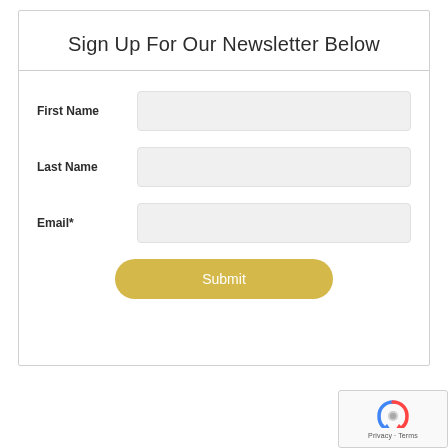Sign Up For Our Newsletter Below
First Name
Last Name
Email*
Submit
[Figure (logo): Google reCAPTCHA badge with logo and Privacy - Terms text]